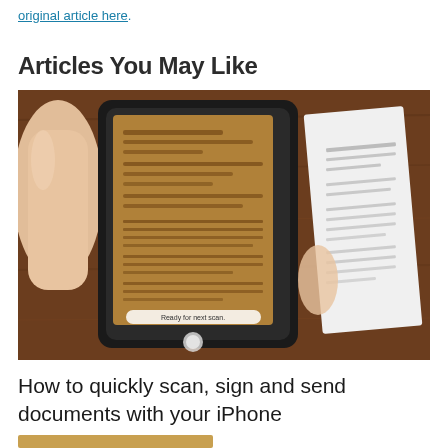original article here.
Articles You May Like
[Figure (photo): A hand holding a smartphone scanning a document on a wooden table. The phone screen shows the document being scanned with text 'Ready for next scan.' visible at the bottom of the screen. A white paper document is visible to the right.]
How to quickly scan, sign and send documents with your iPhone